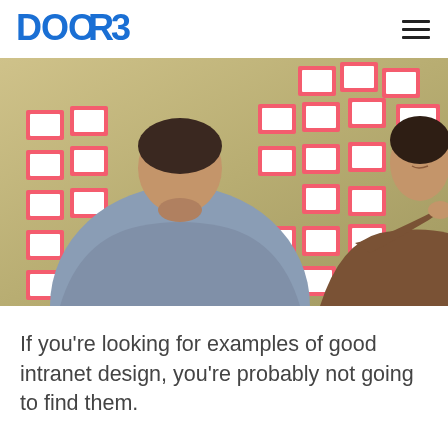DOOR3
[Figure (photo): Two people standing in front of a wall covered with red-bordered white index cards, apparently doing a card sorting exercise. One person viewed from behind wearing a gray shirt, the other in a brown shirt reaching toward the cards.]
If you're looking for examples of good intranet design, you're probably not going to find them.